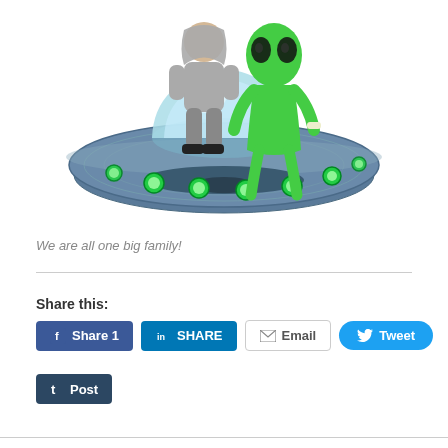[Figure (illustration): Cartoon illustration of a person in grey hoodie and grey pants with black sneakers and a green alien sitting together on top of a flying saucer UFO with glowing green lights around its rim and a blue dome on top]
We are all one big family!
Share this:
Share 1
SHARE
Email
Tweet
Post